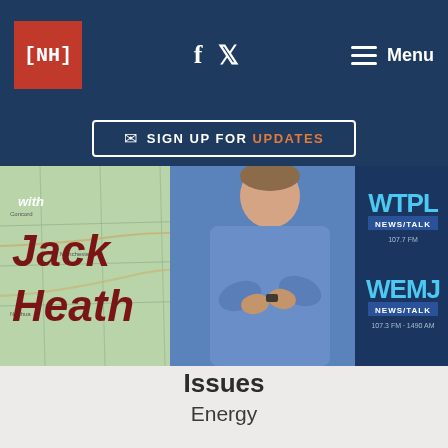[NH] f (twitter) Menu
[Figure (other): Sign up for updates button with envelope icon]
[Figure (other): Banner showing 'with Jack Heath' radio show on WTPL NEWS/TALK 107.7 FM and WEMJ NEWS/TALK 107.3 FM 1490 AM, with host photo]
Issues
Energy
Technology
Politics
Finance
Education